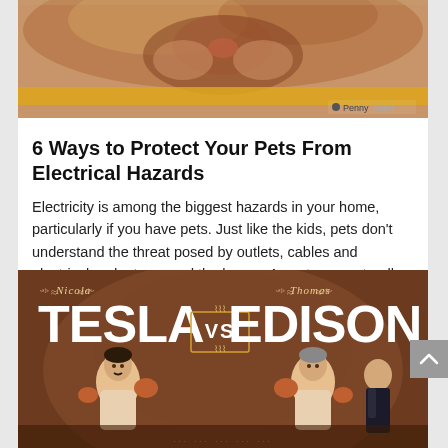[Figure (photo): Close-up photo of a cat's face/nose from above, with an orange/amber horizontal stripe overlay near the bottom. Watermark reading 'PennyLearn' in the bottom right corner.]
6 Ways to Protect Your Pets From Electrical Hazards
Electricity is among the biggest hazards in your home, particularly if you have pets. Just like the kids, pets don't understand the threat posed by outlets, cables and electrical gadgets around the house. As pets are naturally curious, they may start to play or...
[Figure (illustration): Illustrated boxing match poster showing Nicola Tesla vs Thomas Edison. Brown background with vintage boxing poster style. Shows two men in boxing stances facing each other. Text reads 'Nicola TESLA vs Thomas EDISON'.]